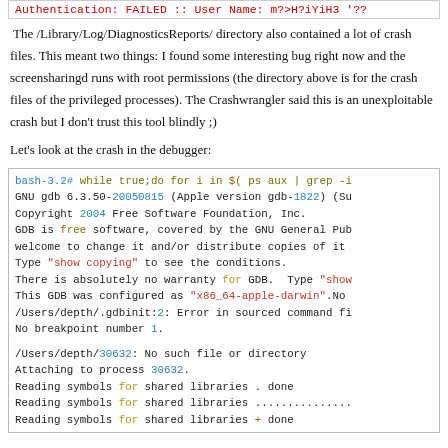[Figure (screenshot): Code terminal banner showing: Authentication: FAILED :: User Name: m?>H?iYiH3 '??]
The /Library/Log/DiagnosticsReports/ directory also contained a lot of crash files. This meant two things: I found some interesting bug right now and the screensharingd runs with root permissions (the directory above is for the crash files of the privileged processes). The Crashwrangler said this is an unexploitable crash but I don't trust this tool blindly ;)
Let's look at the crash in the debugger:
[Figure (screenshot): Terminal code block showing GDB debugger session with bash command, GNU gdb version info, copyright, GDB configuration, gdbinit error, breakpoint info, process attachment, and symbol loading output.]